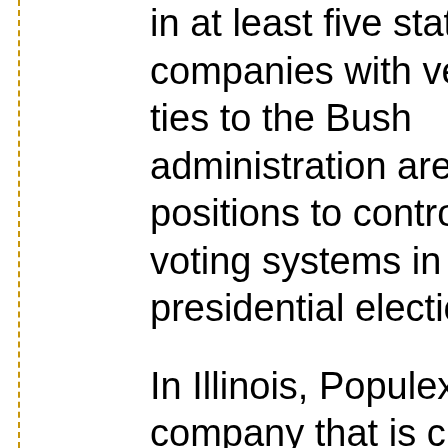in at least five states, companies with very close ties to the Bush administration are in prime positions to control the voting systems in the 2004 presidential elections.
In Illinois, Populex is the company that is creating the electronic voting system for the state. It was recently revealed that Ronald Reagan's former Defense Secretary Frank Carlucci now serves on the company's five-member Advisory